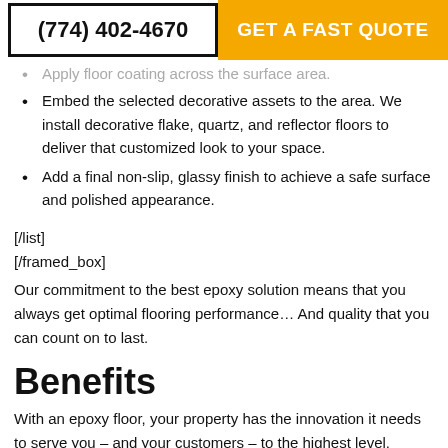(774) 402-4670 | GET A FAST QUOTE
Apply floor coating across the surface area.
Embed the selected decorative assets to the area. We install decorative flake, quartz, and reflector floors to deliver that customized look to your space.
Add a final non-slip, glassy finish to achieve a safe surface and polished appearance.
[/list]
[/framed_box]
Our commitment to the best epoxy solution means that you always get optimal flooring performance… And quality that you can count on to last.
Benefits
With an epoxy floor, your property has the innovation it needs to serve you – and your customers – to the highest level.
Advantages include:
[framed_box rounded="true"][list icon="check-circle" color="red"]